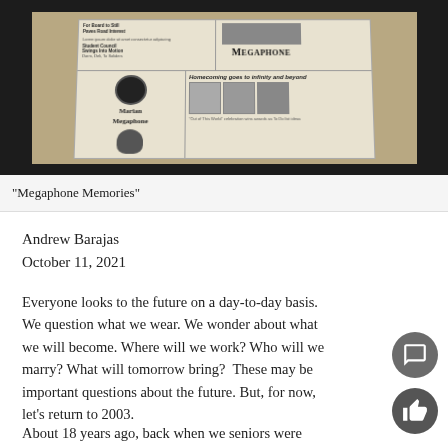[Figure (photo): Photo of Marian Megaphone school newspaper issues laid on a wooden table, showing headlines including 'Megaphone Memories', 'Marian Megaphone', and 'Homecoming goes to infinity and beyond']
“Megaphone Memories”
Andrew Barajas
October 11, 2021
Everyone looks to the future on a day-to-day basis. We question what we wear. We wonder about what we will become. Where will we work? Who will we marry? What will tomorrow bring?  These may be important questions about the future. But, for now, let’s return to 2003.
About 18 years ago, back when we seniors were